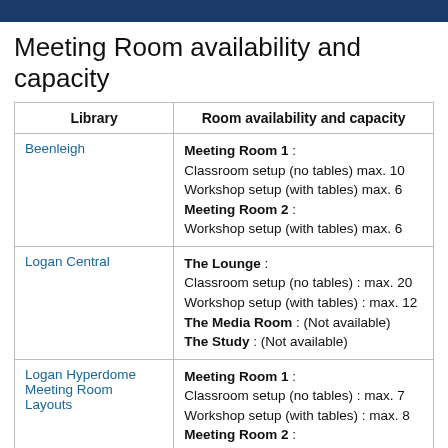Meeting Room availability and capacity
| Library | Room availability and capacity |
| --- | --- |
| Beenleigh | Meeting Room 1 :
Classroom setup (no tables) max. 10
Workshop setup (with tables) max. 6
Meeting Room 2 :
Workshop setup (with tables) max. 6 |
| Logan Central | The Lounge :
Classroom setup (no tables) : max. 20
Workshop setup (with tables) : max. 12
The Media Room : (Not available)
The Study : (Not available) |
| Logan Hyperdome Meeting Room Layouts | Meeting Room 1 :
Classroom setup (no tables) : max. 7
Workshop setup (with tables) : max. 8
Meeting Room 2 :
Classroom setup (no tables) : max. 9 |